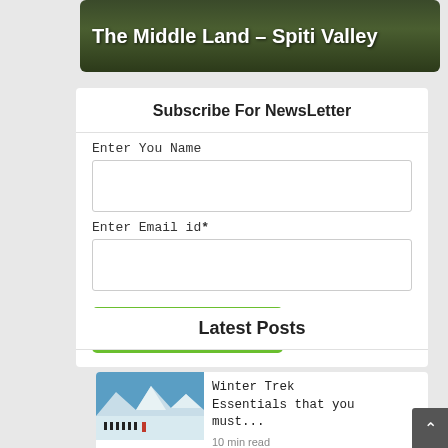The Middle Land – Spiti Valley
Subscribe For NewsLetter
Enter You Name
Enter Email id*
Subscribe
Latest Posts
[Figure (photo): Winter trekkers walking across a snowy mountain landscape]
Winter Trek Essentials that you must...
10 min read